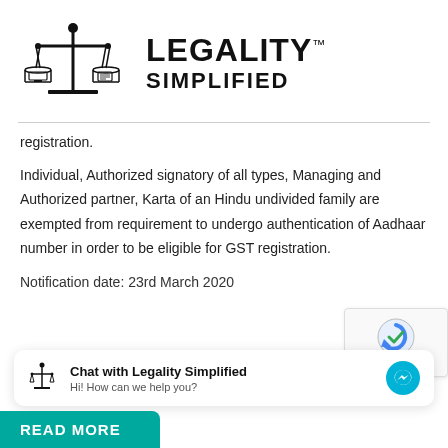[Figure (logo): Legality Simplified logo with scales of justice, one pan with a computer screen and one with a document, with bold text LEGALITY™ SIMPLIFIED]
registration.
Individual, Authorized signatory of all types, Managing and Authorized partner, Karta of an Hindu undivided family are exempted from requirement to undergo authentication of Aadhaar number in order to be eligible for GST registration.
Notification date: 23rd March 2020
[Figure (other): reCAPTCHA widget with Privacy and Terms links]
Chat with Legality Simplified
Hi! How can we help you?
READ MORE